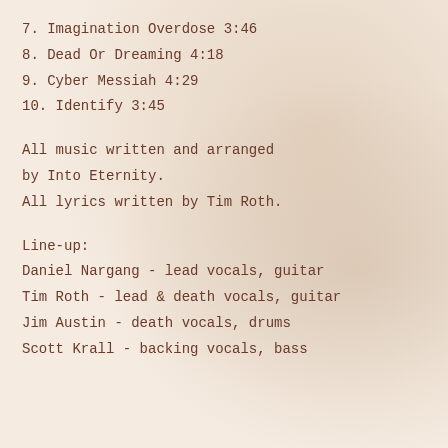7. Imagination Overdose 3:46
8. Dead Or Dreaming 4:18
9. Cyber Messiah 4:29
10. Identify 3:45
All music written and arranged by Into Eternity.
All lyrics written by Tim Roth.
Line-up:
Daniel Nargang - lead vocals, guitar
Tim Roth - lead & death vocals, guitar
Jim Austin - death vocals, drums
Scott Krall - backing vocals, bass